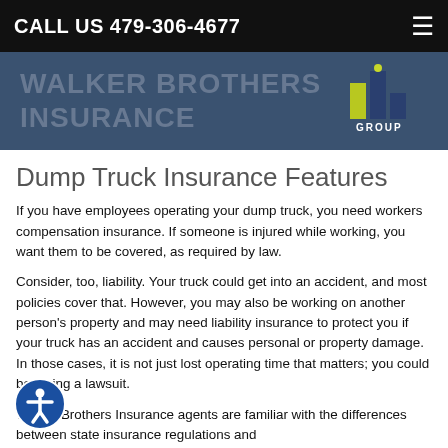CALL US 479-306-4677
[Figure (logo): Walker Brothers Insurance / Hill Group logo on blue banner]
Dump Truck Insurance Features
If you have employees operating your dump truck, you need workers compensation insurance. If someone is injured while working, you want them to be covered, as required by law.
Consider, too, liability. Your truck could get into an accident, and most policies cover that. However, you may also be working on another person's property and may need liability insurance to protect you if your truck has an accident and causes personal or property damage. In those cases, it is not just lost operating time that matters; you could be facing a lawsuit.
Walker Brothers Insurance agents are familiar with the differences between state insurance regulations and